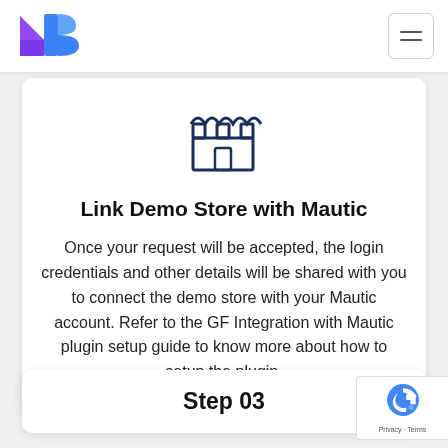MagicBeans logo and navigation
[Figure (logo): MagicBeans logo - stylized M and B letters in purple/blue gradient]
[Figure (illustration): Store/shop icon outline in dark navy blue]
Link Demo Store with Mautic
Once your request will be accepted, the login credentials and other details will be shared with you to connect the demo store with your Mautic account. Refer to the GF Integration with Mautic plugin setup guide to know more about how to setup the plugin.
Step 03